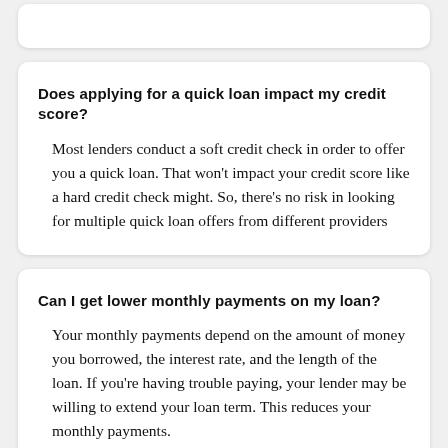Does applying for a quick loan impact my credit score?
Most lenders conduct a soft credit check in order to offer you a quick loan. That won't impact your credit score like a hard credit check might. So, there's no risk in looking for multiple quick loan offers from different providers
Can I get lower monthly payments on my loan?
Your monthly payments depend on the amount of money you borrowed, the interest rate, and the length of the loan. If you're having trouble paying, your lender may be willing to extend your loan term. This reduces your monthly payments.